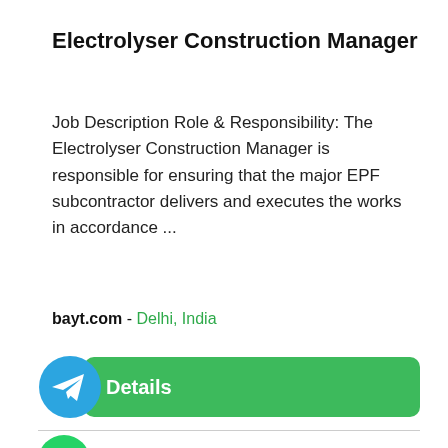Electrolyser Construction Manager
Job Description Role & Responsibility: The Electrolyser Construction Manager is responsible for ensuring that the major EPF subcontractor delivers and executes the works in accordance ...
bayt.com - Delhi, India
[Figure (infographic): Green Details button with Telegram icon overlapping on the left side]
[Figure (logo): WhatsApp green circle logo and Arabic text فرصة with red icon]